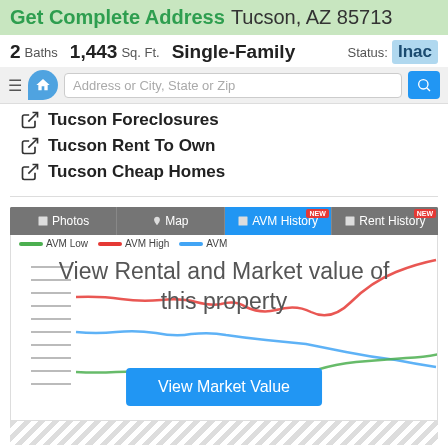Get Complete Address Tucson, AZ 85713
2 Baths  1,443 Sq. Ft.  Single-Family  Status: Inac
[Figure (screenshot): Search bar with home icon bubble and address input field]
Tucson Foreclosures
Tucson Rent To Own
Tucson Cheap Homes
[Figure (line-chart): AVM History chart showing AVM Low (green), AVM High (red), and AVM (blue) lines over time, overlaid with 'View Rental and Market value of this property' text and a 'View Market Value' button]